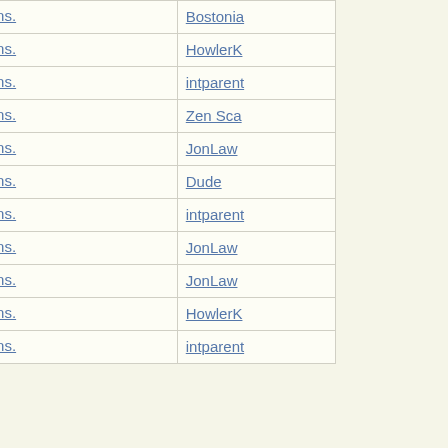| Subject | Author |
| --- | --- |
| Re: Ivy League Admissions. | Bostonia |
| Re: Ivy League Admissions. | HowlerK |
| Re: Ivy League Admissions. | intparent |
| Re: Ivy League Admissions. | Zen Sca |
| Re: Ivy League Admissions. | JonLaw |
| Re: Ivy League Admissions. | Dude |
| Re: Ivy League Admissions. | intparent |
| Re: Ivy League Admissions. | JonLaw |
| Re: Ivy League Admissions. | JonLaw |
| Re: Ivy League Admissions. | HowlerK |
| Re: Ivy League Admissions. | intparent |